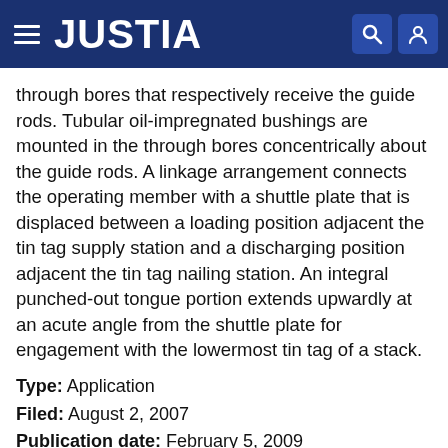JUSTIA
through bores that respectively receive the guide rods. Tubular oil-impregnated bushings are mounted in the through bores concentrically about the guide rods. A linkage arrangement connects the operating member with a shuttle plate that is displaced between a loading position adjacent the tin tag supply station and a discharging position adjacent the tin tag nailing station. An integral punched-out tongue portion extends upwardly at an acute angle from the shuttle plate for engagement with the lowermost tin tag of a stack.
Type: Application
Filed: August 2, 2007
Publication date: February 5, 2009
Inventors: Thomas J. McGuinness, James M. McGuinness, Thomas L. McCart